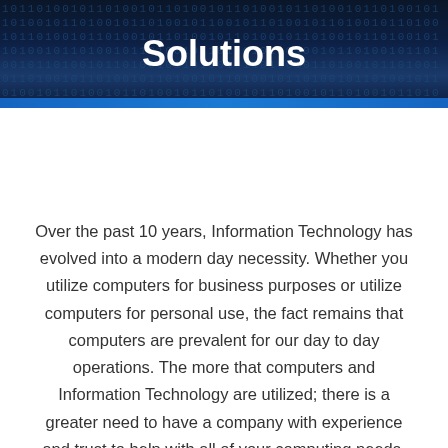Solutions
Over the past 10 years, Information Technology has evolved into a modern day necessity. Whether you utilize computers for business purposes or utilize computers for personal use, the fact remains that computers are prevalent for our day to day operations. The more that computers and Information Technology are utilized; there is a greater need to have a company with experience and trust to help with all of your computing needs.